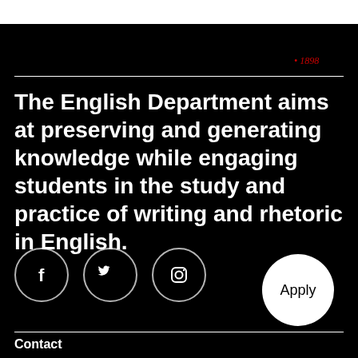[Figure (logo): Northeastern University logo arc with text 'NORTHEAST' curved and '1898' at bottom right corner, red text on black/white background]
The English Department aims at preserving and generating knowledge while engaging students in the study and practice of writing and rhetoric in English.
[Figure (infographic): Three social media icon circles: Facebook (f), Twitter (bird), Instagram (camera)]
[Figure (other): White circular Apply button]
Contact